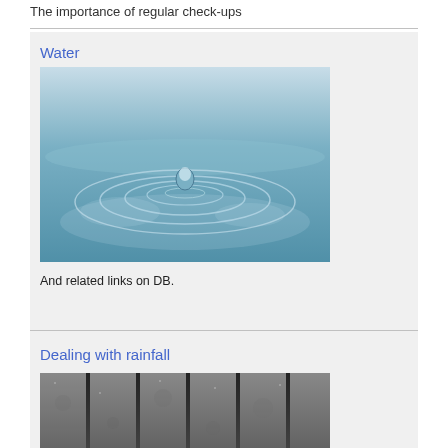The importance of regular check-ups
Water
[Figure (photo): Water droplet hitting the surface creating circular ripples on a blue-tinted water surface]
And related links on DB.
Dealing with rainfall
[Figure (photo): Close-up of a stone or concrete drainage grate with vertical slots]